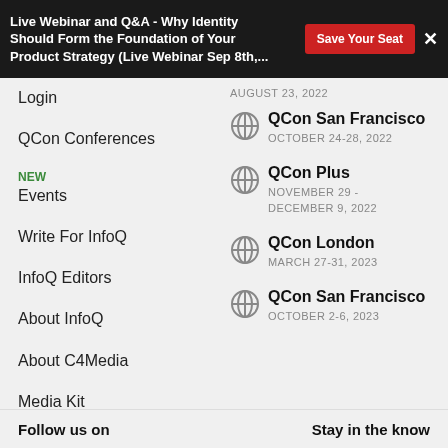Live Webinar and Q&A - Why Identity Should Form the Foundation of Your Product Strategy (Live Webinar Sep 8th,...
Login
QCon Conferences
Events [NEW]
Write For InfoQ
InfoQ Editors
About InfoQ
About C4Media
Media Kit
InfoQ Developer Marketing Blog
Diversity
AUGUST 23, 2022
QCon San Francisco
OCTOBER 24-28, 2022
QCon Plus
NOVEMBER 29 -
DECEMBER 9, 2022
QCon London
MARCH 27-31, 2023
QCon San Francisco
OCTOBER 2-6, 2023
Follow us on | Stay in the know